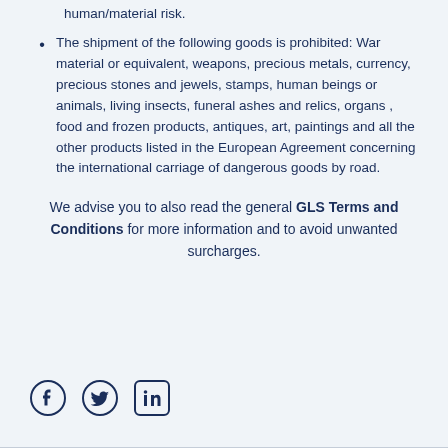human/material risk.
The shipment of the following goods is prohibited: War material or equivalent, weapons, precious metals, currency, precious stones and jewels, stamps, human beings or animals, living insects, funeral ashes and relics, organs , food and frozen products, antiques, art, paintings and all the other products listed in the European Agreement concerning the international carriage of dangerous goods by road.
We advise you to also read the general GLS Terms and Conditions for more information and to avoid unwanted surcharges.
[Figure (other): Social media icons: Facebook, Twitter, LinkedIn]